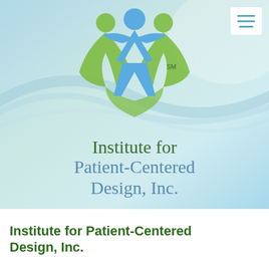[Figure (logo): Institute for Patient-Centered Design, Inc. logo — three stylized human figures (one blue in center with arms raised, two green on sides) forming a heart shape, on a light blue-green gradient background with decorative swirl lines. Service mark SM shown. Organization name in decorative serif font below the figures.]
Institute for Patient-Centered Design, Inc.